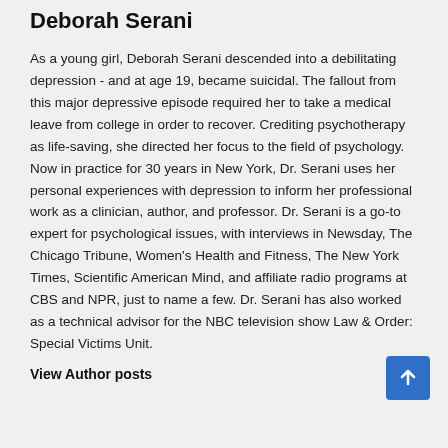Deborah Serani
As a young girl, Deborah Serani descended into a debilitating depression - and at age 19, became suicidal. The fallout from this major depressive episode required her to take a medical leave from college in order to recover. Crediting psychotherapy as life-saving, she directed her focus to the field of psychology. Now in practice for 30 years in New York, Dr. Serani uses her personal experiences with depression to inform her professional work as a clinician, author, and professor. Dr. Serani is a go-to expert for psychological issues, with interviews in Newsday, The Chicago Tribune, Women's Health and Fitness, The New York Times, Scientific American Mind, and affiliate radio programs at CBS and NPR, just to name a few. Dr. Serani has also worked as a technical advisor for the NBC television show Law & Order: Special Victims Unit.
View Author posts